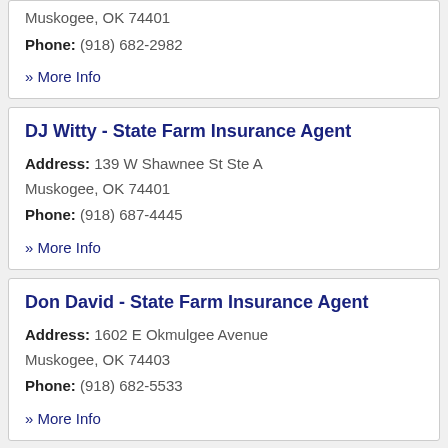Muskogee, OK 74401
Phone: (918) 682-2982
» More Info
DJ Witty - State Farm Insurance Agent
Address: 139 W Shawnee St Ste A
Muskogee, OK 74401
Phone: (918) 687-4445
» More Info
Don David - State Farm Insurance Agent
Address: 1602 E Okmulgee Avenue
Muskogee, OK 74403
Phone: (918) 682-5533
» More Info